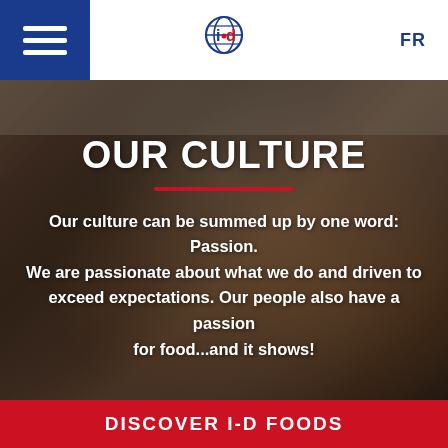[Figure (logo): i-d Foods logo with globe/grid icon in blue and red, hamburger menu icon on blue background left, FR language toggle on right]
[Figure (photo): Background photo of diverse group of people cooking and enjoying food together in a kitchen setting, with dark overlay]
OUR CULTURE
Our culture can be summed up by one word: Passion. We are passionate about what we do and driven to exceed expectations. Our people also have a passion for food...and it shows!
DISCOVER I-D FOODS